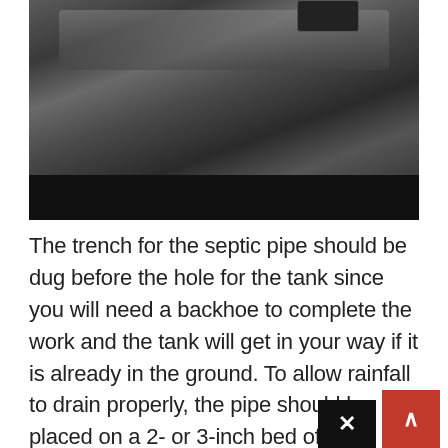[Figure (photo): Photo of a large black pipe (likely septic or drain pipe) on a surface, with a dark black bar at the bottom of the image frame]
The trench for the septic pipe should be dug before the hole for the tank since you will need a backhoe to complete the work and the tank will get in your way if it is already in the ground. To allow rainfall to drain properly, the pipe should be placed on a 2- or 3-inch bed of drain rock, so remember to account for this extra depth when digging. It is normal to use a four-inch pipe, and it should be installed far enough down to link with the main soil stack, which is a three-inch pip